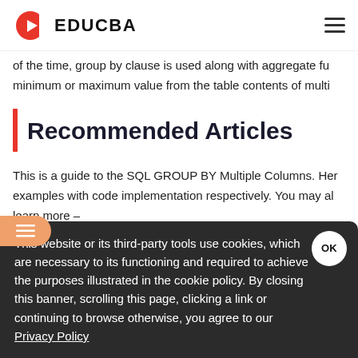EDUCBA
of the time, group by clause is used along with aggregate fu... minimum or maximum value from the table contents of multi...
Recommended Articles
This is a guide to the SQL GROUP BY Multiple Columns. Her... examples with code implementation respectively. You may al... learn more –
This website or its third-party tools use cookies, which are necessary to its functioning and required to achieve the purposes illustrated in the cookie policy. By closing this banner, scrolling this page, clicking a link or continuing to browse otherwise, you agree to our Privacy Policy